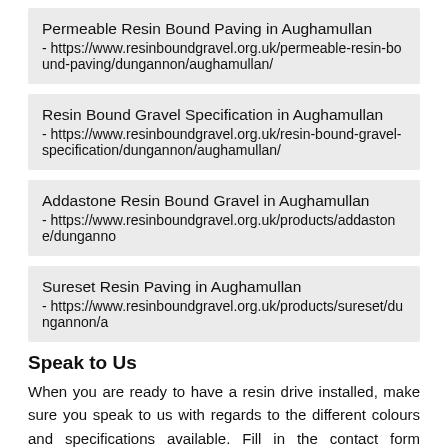Permeable Resin Bound Paving in Aughamullan - https://www.resinboundgravel.org.uk/permeable-resin-bound-paving/dungannon/aughamullan/
Resin Bound Gravel Specification in Aughamullan - https://www.resinboundgravel.org.uk/resin-bound-gravel-specification/dungannon/aughamullan/
Addastone Resin Bound Gravel in Aughamullan - https://www.resinboundgravel.org.uk/products/addastone/dungannon/aughamullan/
Sureset Resin Paving in Aughamullan - https://www.resinboundgravel.org.uk/products/sureset/dungannon/aughamullan/
Speak to Us
When you are ready to have a resin drive installed, make sure you speak to us with regards to the different colours and specifications available. Fill in the contact form provided on this page and we will provide you with more information on resin bound gravel driveways